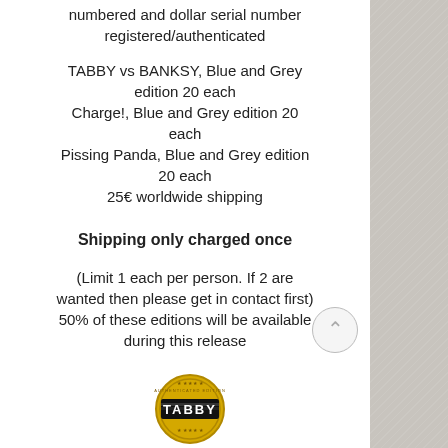numbered and dollar serial number registered/authenticated
TABBY vs BANKSY, Blue and Grey edition 20 each
Charge!, Blue and Grey edition 20 each
Pissing Panda, Blue and Grey edition 20 each
25€ worldwide shipping
Shipping only charged once
(Limit 1 each per person. If 2 are wanted then please get in contact first) 50% of these editions will be available during this release
[Figure (logo): TABBY logo badge — circular gold badge with TABBY text in bold block letters]